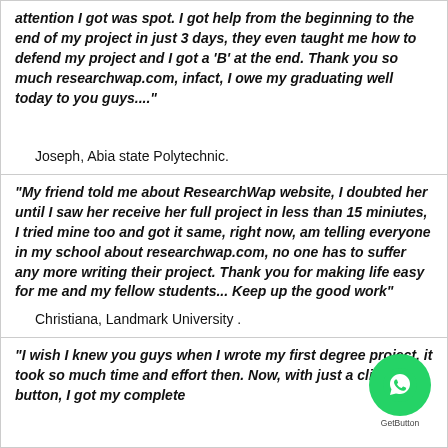attention I got was spot. I got help from the beginning to the end of my project in just 3 days, they even taught me how to defend my project and I got a 'B' at the end. Thank you so much researchwap.com, infact, I owe my graduating well today to you guys...."  Joseph, Abia state Polytechnic.
"My friend told me about ResearchWap website, I doubted her until I saw her receive her full project in less than 15 miniutes, I tried mine too and got it same, right now, am telling everyone in my school about researchwap.com, no one has to suffer any more writing their project. Thank you for making life easy for me and my fellow students... Keep up the good work"  Christiana, Landmark University .
"I wish I knew you guys when I wrote my first degree project, it took so much time and effort then. Now, with just a click of a button, I got my complete